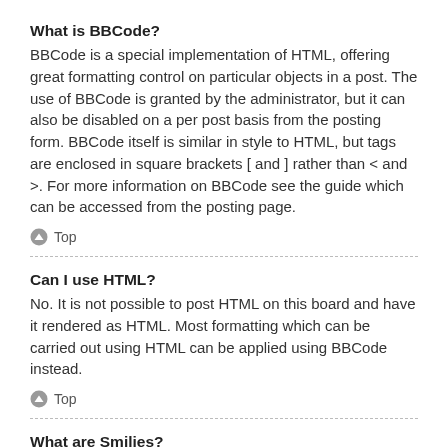What is BBCode?
BBCode is a special implementation of HTML, offering great formatting control on particular objects in a post. The use of BBCode is granted by the administrator, but it can also be disabled on a per post basis from the posting form. BBCode itself is similar in style to HTML, but tags are enclosed in square brackets [ and ] rather than < and >. For more information on BBCode see the guide which can be accessed from the posting page.
Top
Can I use HTML?
No. It is not possible to post HTML on this board and have it rendered as HTML. Most formatting which can be carried out using HTML can be applied using BBCode instead.
Top
What are Smilies?